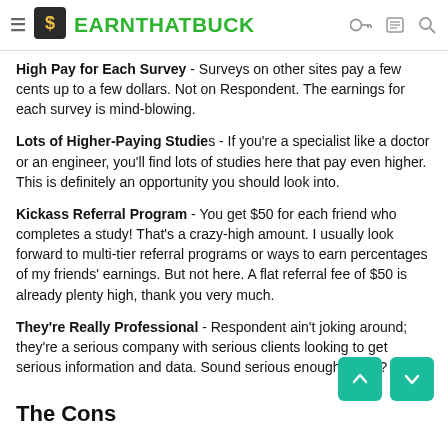EARNTHATBUCK
High Pay for Each Survey - Surveys on other sites pay a few cents up to a few dollars. Not on Respondent. The earnings for each survey is mind-blowing.
Lots of Higher-Paying Studies - If you're a specialist like a doctor or an engineer, you'll find lots of studies here that pay even higher. This is definitely an opportunity you should look into.
Kickass Referral Program - You get $50 for each friend who completes a study! That's a crazy-high amount. I usually look forward to multi-tier referral programs or ways to earn percentages of my friends' earnings. But not here. A flat referral fee of $50 is already plenty high, thank you very much.
They're Really Professional - Respondent ain't joking around; they're a serious company with serious clients looking to get serious information and data. Sound serious enough for ya?
The Cons